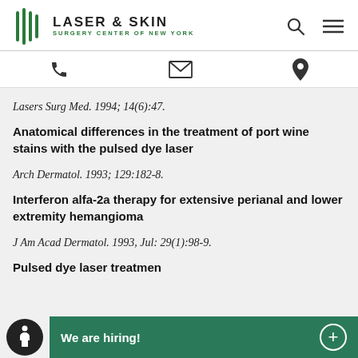[Figure (logo): Laser & Skin Surgery Center of New York logo with green stripe icon]
[Figure (infographic): Navigation icon bar with phone, envelope, and map pin icons]
Lasers Surg Med. 1994; 14(6):47.
Anatomical differences in the treatment of port wine stains with the pulsed dye laser
Arch Dermatol. 1993; 129:182-8.
Interferon alfa-2a therapy for extensive perianal and lower extremity hemangioma
J Am Acad Dermatol. 1993, Jul: 29(1):98-9.
Pulsed dye laser treatmen
We are hiring!